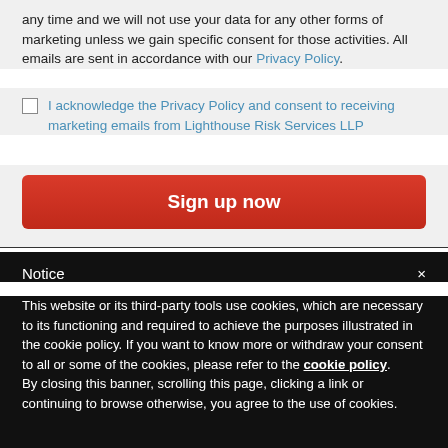any time and we will not use your data for any other forms of marketing unless we gain specific consent for those activities. All emails are sent in accordance with our Privacy Policy.
I acknowledge the Privacy Policy and consent to receiving marketing emails from Lighthouse Risk Services LLP
Sign up now
Notice
This website or its third-party tools use cookies, which are necessary to its functioning and required to achieve the purposes illustrated in the cookie policy. If you want to know more or withdraw your consent to all or some of the cookies, please refer to the cookie policy.
By closing this banner, scrolling this page, clicking a link or continuing to browse otherwise, you agree to the use of cookies.